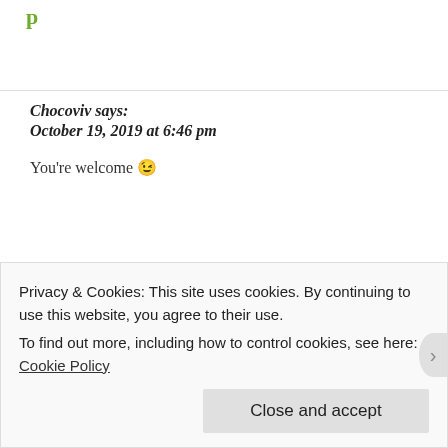Chocoviv says:
October 19, 2019 at 6:46 pm
You're welcome 😉
★ Liked by 1 person
Reply
Privacy & Cookies: This site uses cookies. By continuing to use this website, you agree to their use.
To find out more, including how to control cookies, see here: Cookie Policy